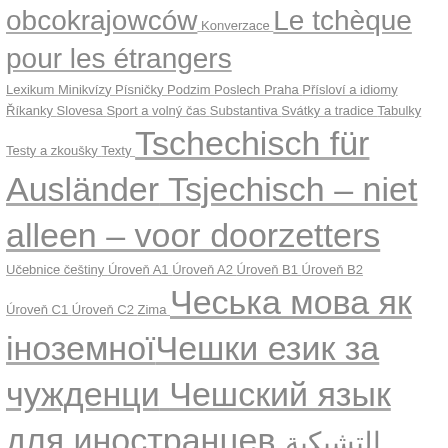obcokrajowców Konverzace Le tchèque pour les étrangers Lexikum Minikvízy Písničky Podzim Poslech Praha Přísloví a idiomy Říkanky Slovesa Sport a volný čas Substantiva Svátky a tradice Tabulky Testy a zkoušky Texty Tschechisch für Ausländer Tsjechisch – niet alleen – voor doorzetters Učebnice češtiny Úroveň A1 Úroveň A2 Úroveň B1 Úroveň B2 Úroveň C1 Úroveň C2 Zima Чеська мова як іноземної Чешки език за чужденци Чешский язык для иностранцев التشيكية للعرب
Instagram Feed
Follow